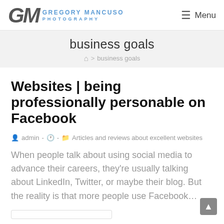[Figure (logo): Gregory Mancuso Photography logo with stylized GM letters and blue text]
☰ Menu
business goals
🏠 > business goals
Websites | being professionally personable on Facebook
admin - 🕐 - 📁 Articles and reviews about excellent websites
When people talk about using social media to advance their careers, they're usually talking about LinkedIn, Twitter, or maybe their blog. But the reality is that more people use Facebook…